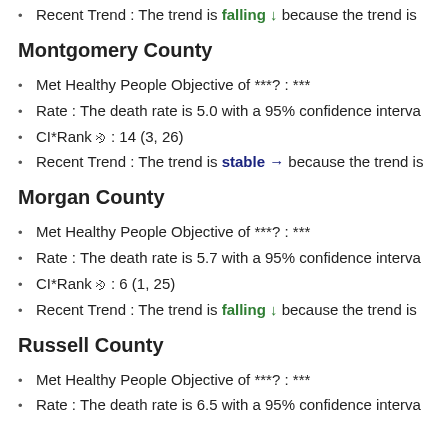Recent Trend : The trend is falling ↓ because the trend is
Montgomery County
Met Healthy People Objective of ***? : ***
Rate : The death rate is 5.0 with a 95% confidence interva
CI*Rank⋔ : 14 (3, 26)
Recent Trend : The trend is stable → because the trend is
Morgan County
Met Healthy People Objective of ***? : ***
Rate : The death rate is 5.7 with a 95% confidence interva
CI*Rank⋔ : 6 (1, 25)
Recent Trend : The trend is falling ↓ because the trend is
Russell County
Met Healthy People Objective of ***? : ***
Rate : The death rate is 6.5 with a 95% confidence interva